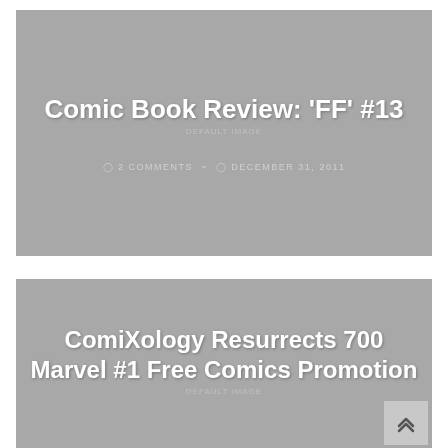[Figure (other): Gray placeholder card with title 'Comic Book Review: ‘FF’ #13', DEFAULT IMAGE watermark, and metadata showing 2 comments and December 31, 2011]
Comic Book Review: ‘FF’ #13
2 COMMENTS ~ DECEMBER 31, 2011
[Figure (other): Gray placeholder card with title 'ComiXology Resurrects 700 Marvel #1 Free Comics Promotion' and DEFAULT IMAGE watermark]
ComiXology Resurrects 700 Marvel #1 Free Comics Promotion